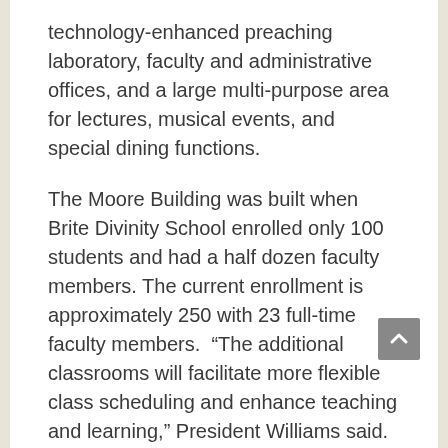technology-enhanced preaching laboratory, faculty and administrative offices, and a large multi-purpose area for lectures, musical events, and special dining functions.
The Moore Building was built when Brite Divinity School enrolled only 100 students and had a half dozen faculty members. The current enrollment is approximately 250 with 23 full-time faculty members.  “The additional classrooms will facilitate more flexible class scheduling and enhance teaching and learning,” President Williams said.